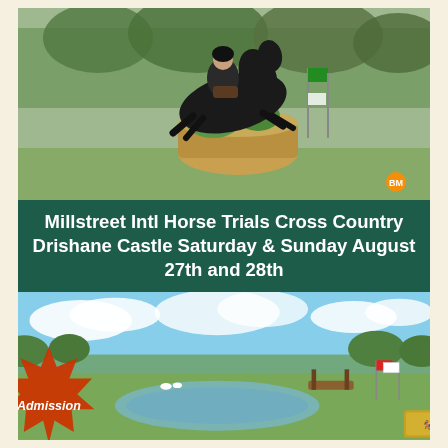[Figure (photo): Horse and rider jumping over a cross-country obstacle (large log/barrel fence decorated with greenery and flags) at Millstreet International Horse Trials. Trees visible in background. BM logo watermark in bottom right.]
Millstreet Intl Horse Trials Cross Country Drishane Castle Saturday & Sunday August 27th and 28th
[Figure (photo): Cross-country course at Drishane Castle showing a water complex with fence obstacles, flags, open green fields, trees in background, and blue sky with clouds. An orange starburst graphic with 'Admission' text partially overlays the bottom left. A logo appears in the bottom right corner.]